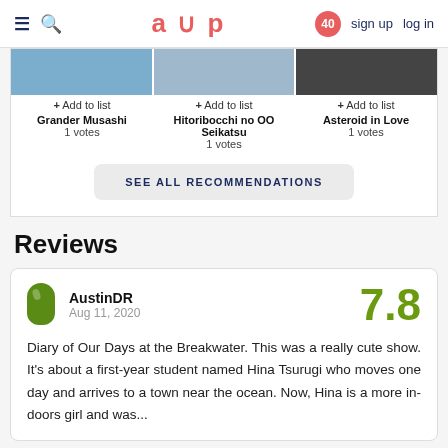≡  🔍  aup  40  sign up  log in
[Figure (screenshot): Three anime thumbnails partially visible at top of recommendations box]
+ Add to list
Grander Musashi
1 votes
+ Add to list
Hitoribocchi no OO Seikatsu
1 votes
+ Add to list
Asteroid in Love
1 votes
SEE ALL RECOMMENDATIONS
Reviews
AustinDR
Aug 11, 2020
7.8
Diary of Our Days at the Breakwater. This was a really cute show. It's about a first-year student named Hina Tsurugi who moves one day and arrives to a town near the ocean. Now, Hina is a more in-doors girl and was...